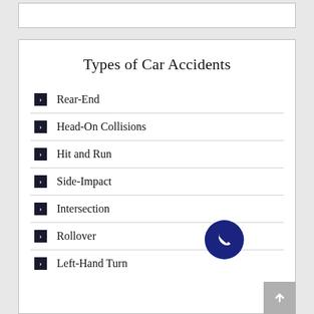Types of Car Accidents
Rear-End
Head-On Collisions
Hit and Run
Side-Impact
Intersection
Rollover
Left-Hand Turn